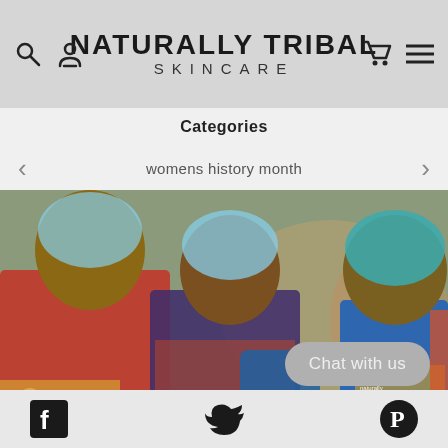NATURALLY TRIBAL SKINCARE
Categories
womens history month
[Figure (photo): Group of African women wearing blue aprons and hair nets, some holding drums, outdoors]
Facebook | Twitter | Pinterest | Chat with us